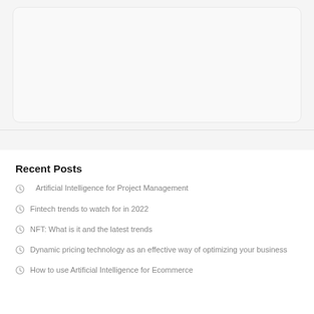[Figure (other): Light gray rounded card/box in upper portion of page, on a gray background]
Recent Posts
Artificial Intelligence for Project Management
Fintech trends to watch for in 2022
NFT: What is it and the latest trends
Dynamic pricing technology as an effective way of optimizing your business
How to use Artificial Intelligence for Ecommerce